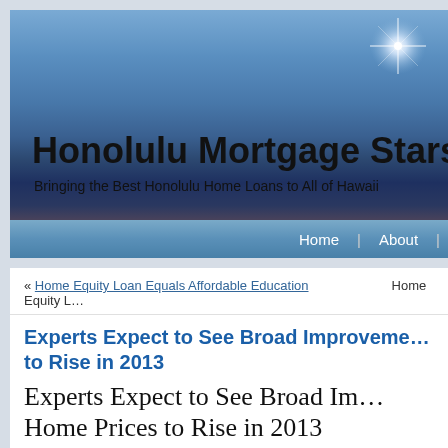[Figure (screenshot): Honolulu Mortgage Stars website header banner with blue gradient sky background and star flare in upper right corner]
Honolulu Mortgage Stars
Bringing the Best Honolulu Home Loans to All of Hawaii
Home | About |
« Home Equity Loan Equals Affordable Education    Home Equity L…
Experts Expect to See Broad Improvement… to Rise in 2013
Experts Expect to See Broad Im… Home Prices to Rise in 2013
The Urban Land Institute released its Real Estate Consensus Forecast Wednesday… economists and analysts surveyed projected broad improvements for the economy.